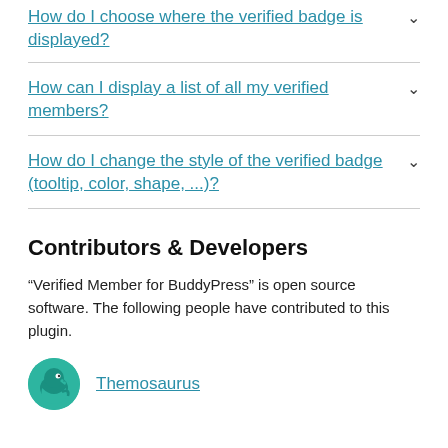How do I choose where the verified badge is displayed?
How can I display a list of all my verified members?
How do I change the style of the verified badge (tooltip, color, shape, ...)?
Contributors & Developers
“Verified Member for BuddyPress” is open source software. The following people have contributed to this plugin.
Themosaurus